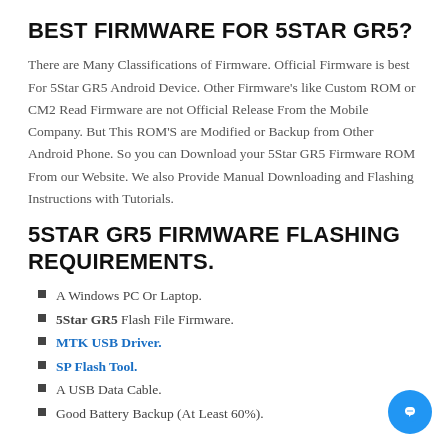BEST FIRMWARE FOR 5STAR GR5?
There are Many Classifications of Firmware. Official Firmware is best For 5Star GR5 Android Device. Other Firmware's like Custom ROM or CM2 Read Firmware are not Official Release From the Mobile Company. But This ROM'S are Modified or Backup from Other Android Phone. So you can Download your 5Star GR5 Firmware ROM From our Website. We also Provide Manual Downloading and Flashing Instructions with Tutorials.
5STAR GR5 FIRMWARE FLASHING REQUIREMENTS.
A Windows PC Or Laptop.
5Star GR5 Flash File Firmware.
MTK USB Driver.
SP Flash Tool.
A USB Data Cable.
Good Battery Backup (At Least 60%).